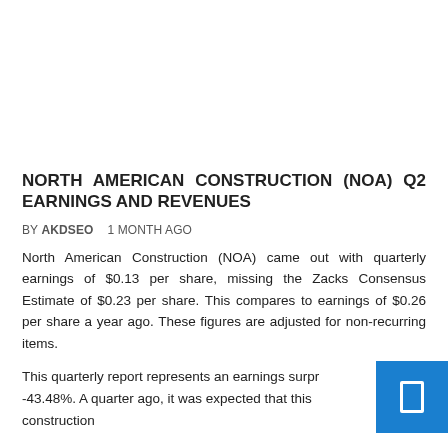NORTH AMERICAN CONSTRUCTION (NOA) Q2 EARNINGS AND REVENUES
BY AKDSEO    1 MONTH AGO
North American Construction (NOA) came out with quarterly earnings of $0.13 per share, missing the Zacks Consensus Estimate of $0.23 per share. This compares to earnings of $0.26 per share a year ago. These figures are adjusted for non-recurring items.
This quarterly report represents an earnings surpr -43.48%. A quarter ago, it was expected that this construction